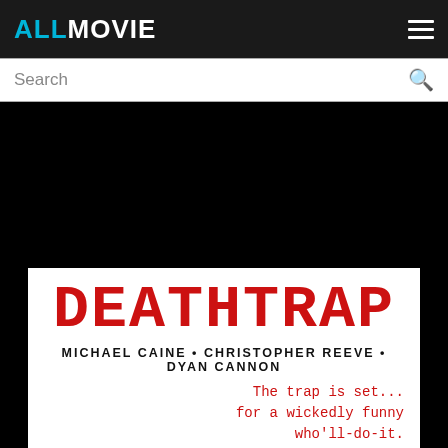ALLMOVIE
Search
[Figure (screenshot): Black background area representing a movie banner/hero image area]
[Figure (illustration): Movie poster for Deathtrap showing red typewriter-font title DEATHTRAP, cast names MICHAEL CAINE • CHRISTOPHER REEVE • DYAN CANNON, and tagline: The trap is set... for a wickedly funny who'll-do-it.]
DEATHTRAP
MICHAEL CAINE • CHRISTOPHER REEVE • DYAN CANNON
The trap is set... for a wickedly funny who'll-do-it.